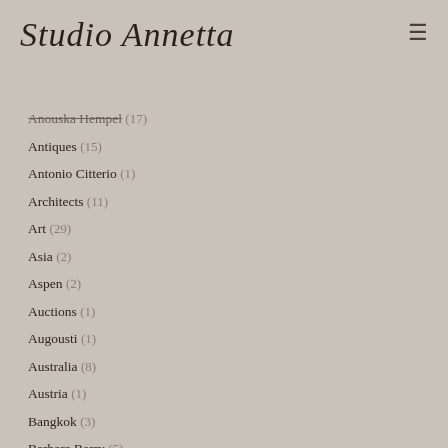Studio Annetta
Anouska Hempel (17)
Antiques (15)
Antonio Citterio (1)
Architects (11)
Art (29)
Asia (2)
Aspen (2)
Auctions (1)
Augousti (1)
Australia (8)
Austria (1)
Bangkok (3)
Barbara Barry (5)
Bars (9)
Based Upon (1)
Bathrooms (...)